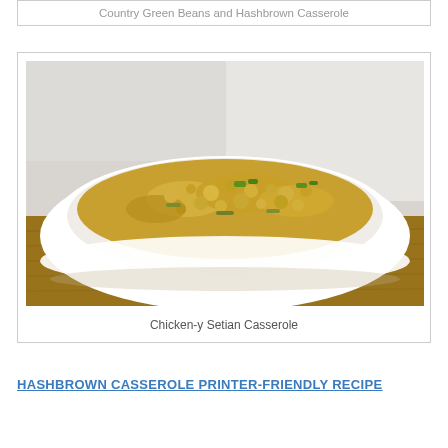Country Green Beans and Hashbrown Casserole
[Figure (photo): A white ceramic bowl filled with a casserole dish containing green bean and hashbrown casserole topped with crumbled yellow topping and green onion pieces, sitting on a wooden cutting board with a white cloth in the background.]
Chicken-y Setian Casserole
HASHBROWN CASSEROLE PRINTER-FRIENDLY RECIPE